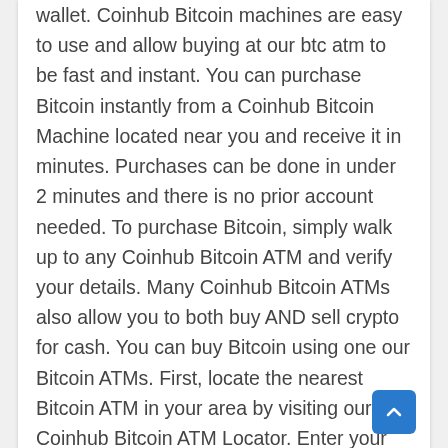wallet. Coinhub Bitcoin machines are easy to use and allow buying at our btc atm to be fast and instant. You can purchase Bitcoin instantly from a Coinhub Bitcoin Machine located near you and receive it in minutes. Purchases can be done in under 2 minutes and there is no prior account needed. To purchase Bitcoin, simply walk up to any Coinhub Bitcoin ATM and verify your details. Many Coinhub Bitcoin ATMs also allow you to both buy AND sell crypto for cash. You can buy Bitcoin using one our Bitcoin ATMs. First, locate the nearest Bitcoin ATM in your area by visiting our Coinhub Bitcoin ATM Locator. Enter your phone number and walk up to the machine. The machine will verify your phone using a code and scan the bitcoin wallet. Enter each bill one at a time to determine the amount you wish to purchase. After that, confirm the purchase by entering the bitcoin atm. Bitcoin is then instantly sent to your wallet. The daily buying limit is $25,000. We